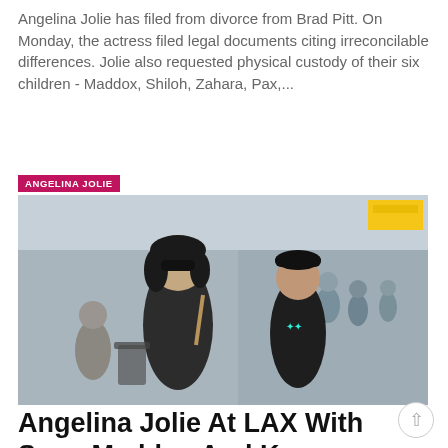Angelina Jolie has filed from divorce from Brad Pitt. On Monday, the actress filed legal documents citing irreconcilable differences. Jolie also requested physical custody of their six children - Maddox, Shiloh, Zahara, Pax,...
[Figure (photo): Angelina Jolie at LAX airport walking with sons Maddox and Knox, people visible in background at airport terminal. Tag label reads ANGELINA JOLIE.]
Angelina Jolie At LAX With Sons Maddox And Knox
Amanda Austin • Jun 19, 2016
Angelina Jolie had some handsome travel companions over Father's Day weekend. The actress was spotted at the LAX airport with her two sons - Knox Leon Jolie-Pitt and Maddox Jolie-Pitt. Angelina and her boys flew in to...